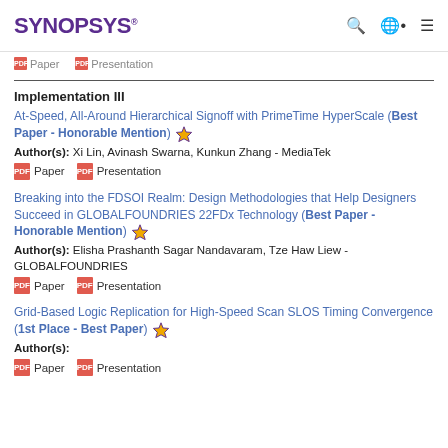SYNOPSYS
Paper   Presentation
Implementation III
At-Speed, All-Around Hierarchical Signoff with PrimeTime HyperScale (Best Paper - Honorable Mention) ★
Author(s): Xi Lin, Avinash Swarna, Kunkun Zhang - MediaTek
Paper   Presentation
Breaking into the FDSOI Realm: Design Methodologies that Help Designers Succeed in GLOBALFOUNDRIES 22FDx Technology (Best Paper - Honorable Mention) ★
Author(s): Elisha Prashanth Sagar Nandavaram, Tze Haw Liew - GLOBALFOUNDRIES
Paper   Presentation
Grid-Based Logic Replication for High-Speed Scan SLOS Timing Convergence (1st Place - Best Paper) ★
Author(s):
Paper   Presentation